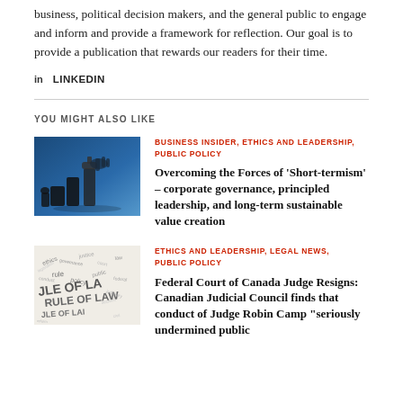business, political decision makers, and the general public to engage and inform and provide a framework for reflection. Our goal is to provide a publication that rewards our readers for their time.
in LINKEDIN
YOU MIGHT ALSO LIKE
[Figure (photo): Chess pieces on a blue background, a hand moving a chess piece]
BUSINESS INSIDER, ETHICS AND LEADERSHIP, PUBLIC POLICY
Overcoming the Forces of 'Short-termism' – corporate governance, principled leadership, and long-term sustainable value creation
[Figure (photo): Word cloud or text-based image with legal/rule of law theme, showing 'RULE OF LAW' text]
ETHICS AND LEADERSHIP, LEGAL NEWS, PUBLIC POLICY
Federal Court of Canada Judge Resigns: Canadian Judicial Council finds that conduct of Judge Robin Camp "seriously undermined public